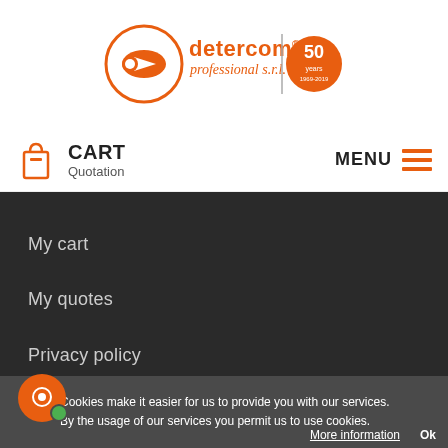[Figure (logo): Detercom Professional S.r.l. logo with orange circle, arrow icon, italic script text, and 50 years badge]
CART
Quotation
MENU
My cart
My quotes
Privacy policy
How to request a quote?
Cookies make it easier for us to provide you with our services. By the usage of our services you permit us to use cookies.
More information   Ok